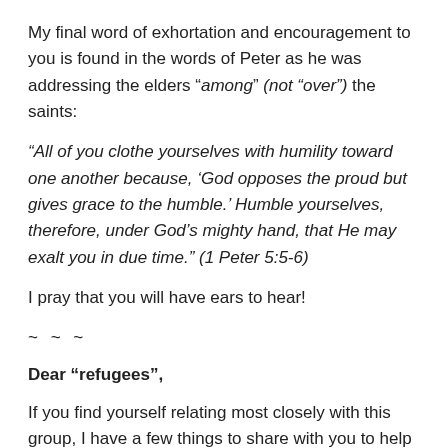My final word of exhortation and encouragement to you is found in the words of Peter as he was addressing the elders “among” (not “over”) the saints:
“All of you clothe yourselves with humility toward one another because, ‘God opposes the proud but gives grace to the humble.’ Humble yourselves, therefore, under God’s mighty hand, that He may exalt you in due time.” (1 Peter 5:5-6)
I pray that you will have ears to hear!
~ ~ ~
Dear “refugees”,
If you find yourself relating most closely with this group, I have a few things to share with you to help you navigate